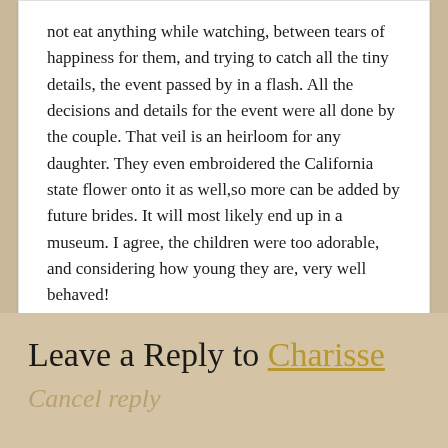not eat anything while watching, between tears of happiness for them, and trying to catch all the tiny details, the event passed by in a flash. All the decisions and details for the event were all done by the couple. That veil is an heirloom for any daughter. They even embroidered the California state flower onto it as well,so more can be added by future brides. It will most likely end up in a museum. I agree, the children were too adorable, and considering how young they are, very well behaved!
Reply
Leave a Reply to Charisse
Cancel reply